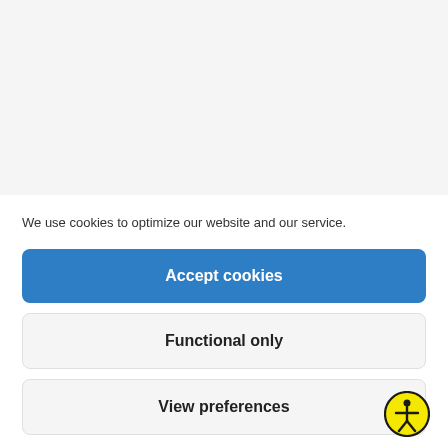[Figure (screenshot): Blurred/grayed website background content area above cookie consent dialog]
We use cookies to optimize our website and our service.
Accept cookies
Functional only
View preferences
[Figure (illustration): Accessibility icon: person figure in circle with yellow background and black border]